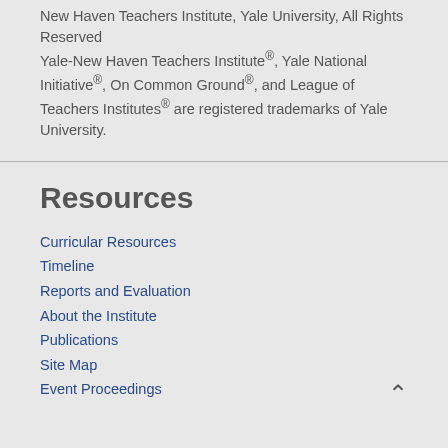New Haven Teachers Institute, Yale University, All Rights Reserved
Yale-New Haven Teachers Institute®, Yale National Initiative®, On Common Ground®, and League of Teachers Institutes® are registered trademarks of Yale University.
Resources
Curricular Resources
Timeline
Reports and Evaluation
About the Institute
Publications
Site Map
Event Proceedings